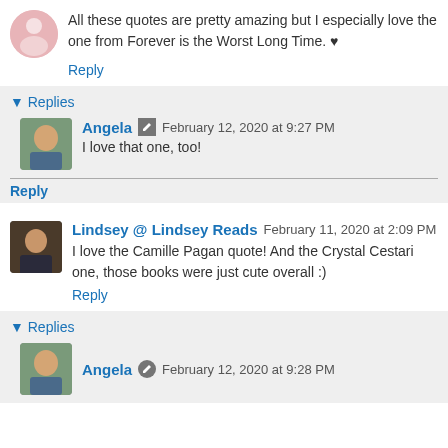All these quotes are pretty amazing but I especially love the one from Forever is the Worst Long Time. ♥
Reply
▾ Replies
Angela  February 12, 2020 at 9:27 PM
I love that one, too!
Reply
Lindsey @ Lindsey Reads  February 11, 2020 at 2:09 PM
I love the Camille Pagan quote! And the Crystal Cestari one, those books were just cute overall :)
Reply
▾ Replies
Angela  February 12, 2020 at 9:28 PM